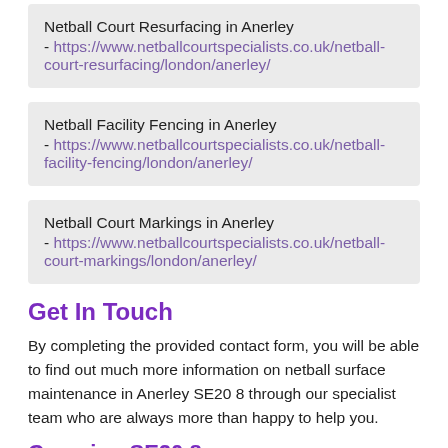Netball Court Resurfacing in Anerley - https://www.netballcourtspecialists.co.uk/netball-court-resurfacing/london/anerley/
Netball Facility Fencing in Anerley - https://www.netballcourtspecialists.co.uk/netball-facility-fencing/london/anerley/
Netball Court Markings in Anerley - https://www.netballcourtspecialists.co.uk/netball-court-markings/london/anerley/
Get In Touch
By completing the provided contact form, you will be able to find out much more information on netball surface maintenance in Anerley SE20 8 through our specialist team who are always more than happy to help you.
Covering SE20 8